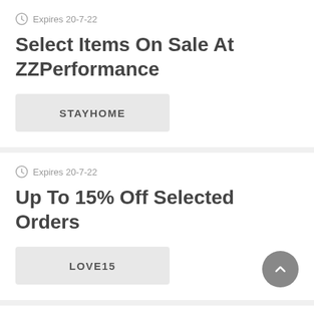Expires 20-7-22
Select Items On Sale At ZZPerformance
STAYHOME
Expires 20-7-22
Up To 15% Off Selected Orders
LOVE15